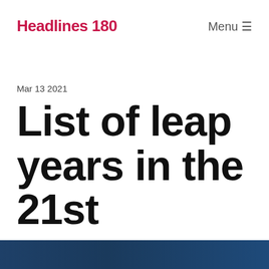Headlines 180
Mar 13 2021
List of leap years in the 21st century
[Figure (photo): Dark navy blue banner image at the bottom of the page, partially visible]